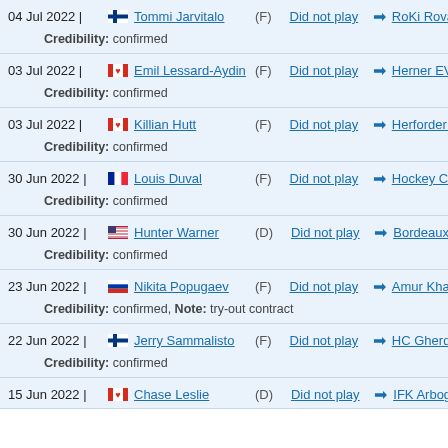04 Jul 2022 | Tommi Jarvitalo (F) Did not play → RoKi Rovanie... Credibility: confirmed
03 Jul 2022 | Emil Lessard-Aydin (F) Did not play → Herner EV 200... Credibility: confirmed
03 Jul 2022 | Killian Hutt (F) Did not play → Herforder EV Credibility: confirmed
30 Jun 2022 | Louis Duval (F) Did not play → Hockey Clerme... Credibility: confirmed
30 Jun 2022 | Hunter Warner (D) Did not play → Bordeaux GHO... Credibility: confirmed
23 Jun 2022 | Nikita Popugaev (F) Did not play → Amur Khabaro... Credibility: confirmed, Note: try-out contract
22 Jun 2022 | Jerry Sammalisto (F) Did not play → HC Gherdeina... Credibility: confirmed
15 Jun 2022 | Chase Leslie (D) Did not play → IFK Arboga